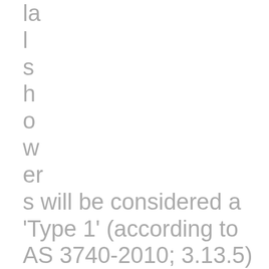la
l
s
h
o
w
er
s will be considered a 'Type 1' (according to AS 3740-2010; 3.13.5) with a frameless glass screen, shower curtain and/or waterstop hob entry controlling splash and surface water. Therefore, a minimum of 1:100 fall is required where a hob is present. A minimum of 1:80 fall is needed for all other shower types. Drainage is